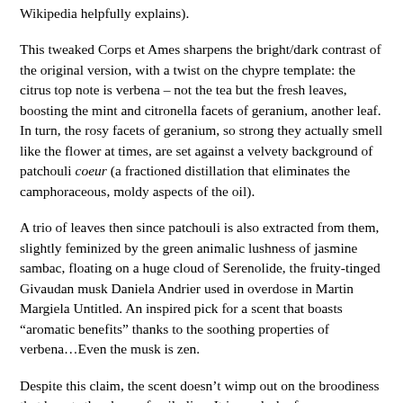Wikipedia helpfully explains).
This tweaked Corps et Ames sharpens the bright/dark contrast of the original version, with a twist on the chypre template: the citrus top note is verbena – not the tea but the fresh leaves, boosting the mint and citronella facets of geranium, another leaf. In turn, the rosy facets of geranium, so strong they actually smell like the flower at times, are set against a velvety background of patchouli coeur (a fractioned distillation that eliminates the camphoraceous, moldy aspects of the oil).
A trio of leaves then since patchouli is also extracted from them, slightly feminized by the green animalic lushness of jasmine sambac, floating on a huge cloud of Serenolide, the fruity-tinged Givaudan musk Daniela Andrier used in overdose in Martin Margiela Untitled. An inspired pick for a scent that boasts “aromatic benefits” thanks to the soothing properties of verbena…Even the musk is zen.
Despite this claim, the scent doesn’t wimp out on the broodiness that haunts the chypre family line. It is a splash of